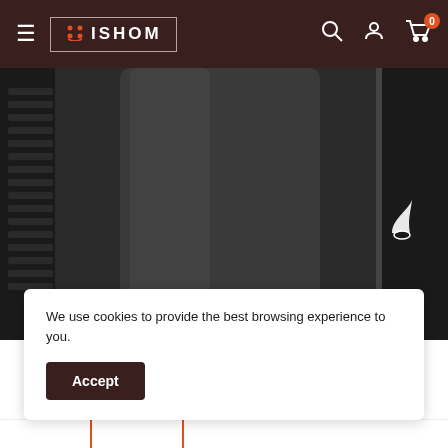ISHOM navigation bar with hamburger menu, logo, search, account, and cart icons
[Figure (photo): Close-up product photo of a black electronic appliance (appears to be a portable air conditioner or purifier) with ventilation grilles on the left side, on a white background. A white flame/leaf logo is visible on the right side of the unit.]
We use cookies to provide the best browsing experience to you.
Accept